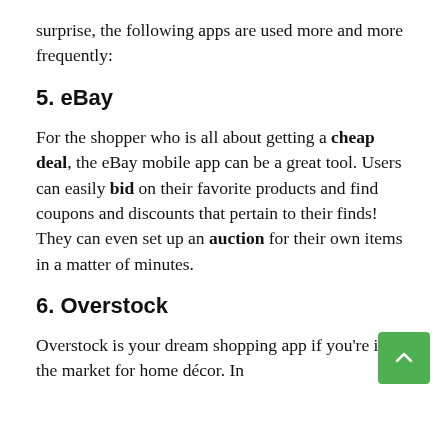surprise, the following apps are used more and more frequently:
5. eBay
For the shopper who is all about getting a cheap deal, the eBay mobile app can be a great tool. Users can easily bid on their favorite products and find coupons and discounts that pertain to their finds! They can even set up an auction for their own items in a matter of minutes.
6. Overstock
Overstock is your dream shopping app if you're in the market for home décor. In addition to all of the above...